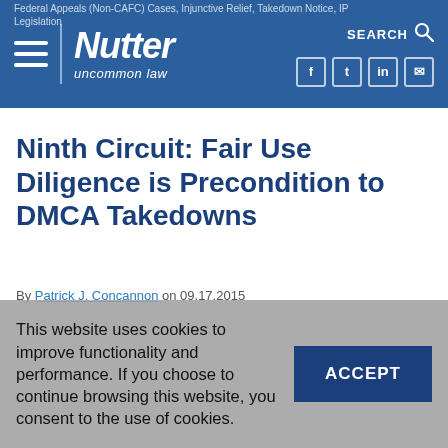Nutter — uncommon law
Ninth Circuit: Fair Use Diligence is Precondition to DMCA Takedowns
By Patrick J. Concannon on 09.17.2015
This website uses cookies to improve functionality and performance. If you choose to continue browsing this website, you consent to the use of cookies.